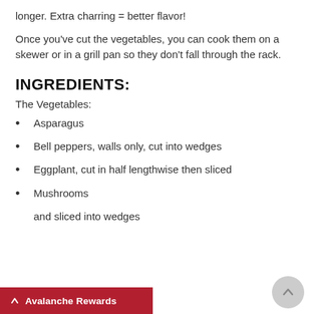longer. Extra charring = better flavor!
Once you've cut the vegetables, you can cook them on a skewer or in a grill pan so they don't fall through the rack.
INGREDIENTS:
The Vegetables:
Asparagus
Bell peppers, walls only, cut into wedges
Eggplant, cut in half lengthwise then sliced
Mushrooms
and sliced into wedges
Avalanche Rewards